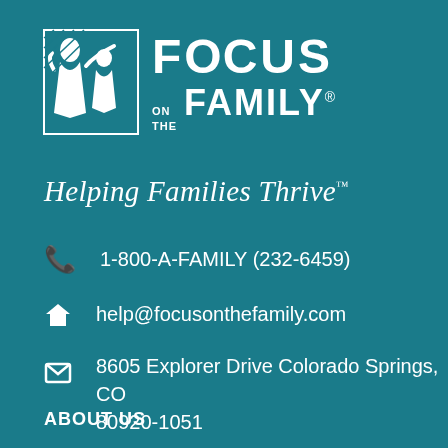[Figure (logo): Focus on the Family logo with white silhouette of family figure and text 'FOCUS ON THE FAMILY' on teal background]
Helping Families Thrive™
1-800-A-FAMILY (232-6459)
help@focusonthefamily.com
8605 Explorer Drive Colorado Springs, CO 80920-1051
ABOUT US